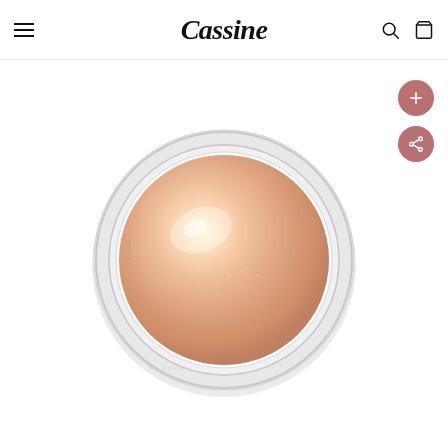Cassine
[Figure (photo): A round compact of shimmery peach/rose gold highlighter powder in a clear/silver circular case, viewed from above on a white background. The product has a domed, baked texture with a warm peachy-gold shimmer.]